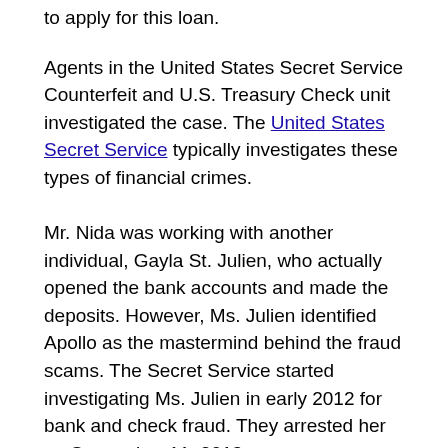to apply for this loan.
Agents in the United States Secret Service Counterfeit and U.S. Treasury Check unit investigated the case. The United States Secret Service typically investigates these types of financial crimes.
Mr. Nida was working with another individual, Gayla St. Julien, who actually opened the bank accounts and made the deposits. However, Ms. Julien identified Apollo as the mastermind behind the fraud scams. The Secret Service started investigating Ms. Julien in early 2012 for bank and check fraud. They arrested her on September 11, 2013.
The secret service agent wrote in the complaint that she “described herself as NIDA’s ‘right-hand b**** in